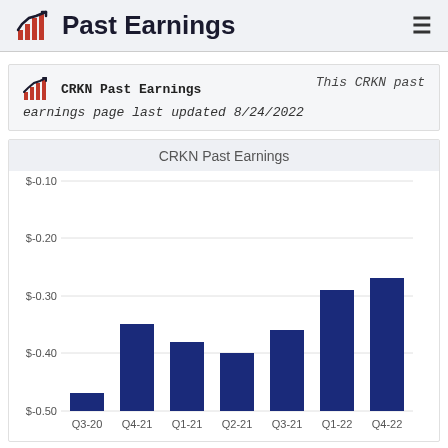Past Earnings
CRKN Past Earnings  This CRKN past earnings page last updated 8/24/2022
[Figure (bar-chart): CRKN Past Earnings]